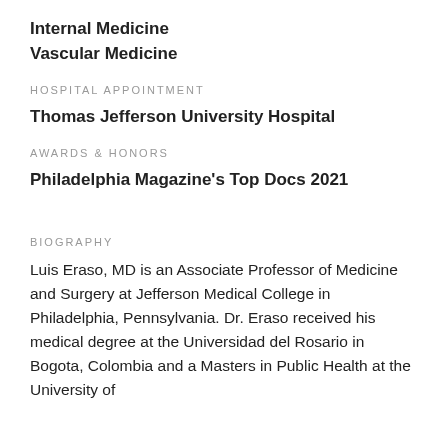Internal Medicine
Vascular Medicine
HOSPITAL APPOINTMENT
Thomas Jefferson University Hospital
AWARDS & HONORS
Philadelphia Magazine's Top Docs 2021
BIOGRAPHY
Luis Eraso, MD is an Associate Professor of Medicine and Surgery at Jefferson Medical College in Philadelphia, Pennsylvania. Dr. Eraso received his medical degree at the Universidad del Rosario in Bogota, Colombia and a Masters in Public Health at the University of